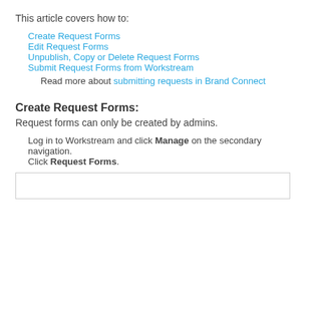This article covers how to:
Create Request Forms
Edit Request Forms
Unpublish, Copy or Delete Request Forms
Submit Request Forms from Workstream
Read more about submitting requests in Brand Connect
Create Request Forms:
Request forms can only be created by admins.
Log in to Workstream and click Manage on the secondary navigation.
Click Request Forms.
[Figure (screenshot): Empty screenshot box at the bottom of the page]